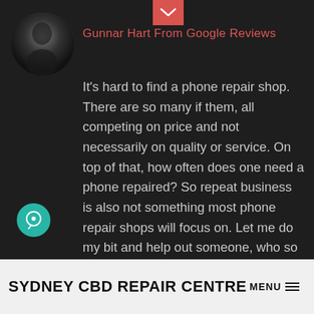[Figure (photo): Blurred circular profile photo of reviewer Gunnar, dark background]
[Figure (other): Red envelope/down-chevron icon at top center]
Gunnar Hart From Google Reviews
It's hard to find a phone repair shop. There are so many if them, all competing on price and not necessarily on quality or service. On top of that, how often does one need a phone repaired? So repeat business is also not something most phone repair shops will focus on. Let me do my bit and help out someone, who so obviously does things differently. These guys were fantastic in their communication, in their patience, knowledge, work quality,
[Figure (other): Teal chat bubble icon on the left side]
SYDNEY CBD REPAIR CENTRE  MENU  ≡